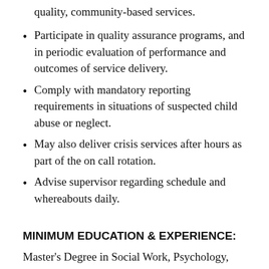quality, community-based services.
Participate in quality assurance programs, and in periodic evaluation of performance and outcomes of service delivery.
Comply with mandatory reporting requirements in situations of suspected child abuse or neglect.
May also deliver crisis services after hours as part of the on call rotation.
Advise supervisor regarding schedule and whereabouts daily.
MINIMUM EDUCATION & EXPERIENCE:
Master's Degree in Social Work, Psychology, Licensed